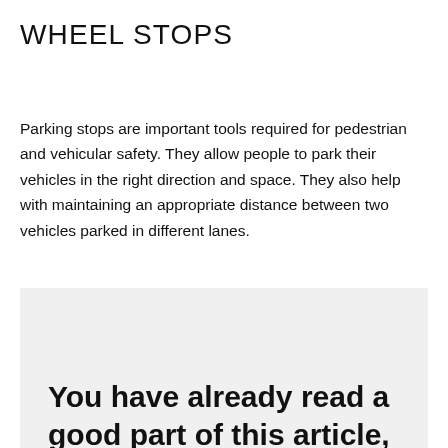WHEEL STOPS
Parking stops are important tools required for pedestrian and vehicular safety. They allow people to park their vehicles in the right direction and space. They also help with maintaining an appropriate distance between two vehicles parked in different lanes.
You have already read a good part of this article, 🙂 We've got the impression